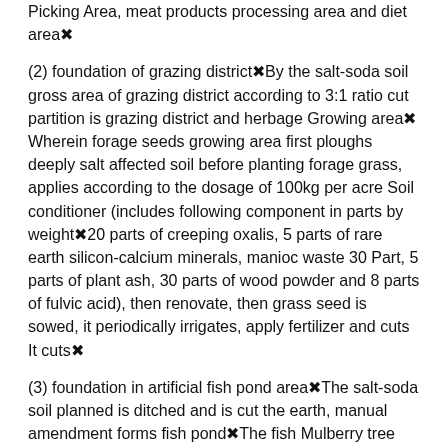Picking Area, meat products processing area and diet area⁇
(2) foundation of grazing district⁇By the salt-soda soil gross area of grazing district according to 3:1 ratio cut partition is grazing district and herbage Growing area⁇ Wherein forage seeds growing area first ploughs deeply salt affected soil before planting forage grass, applies according to the dosage of 100kg per acre Soil conditioner (includes following component in parts by weight⁇ 20 parts of creeping oxalis, 5 parts of rare earth silicon-calcium minerals, manioc waste 30 Part, 5 parts of plant ash, 30 parts of wood powder and 8 parts of fulvic acid), then renovate, then grass seed is sowed, it periodically irrigates, apply fertilizer and cuts It cuts⁇
(3) foundation in artificial fish pond area⁇The salt-soda soil planned is ditched and is cut the earth, manual amendment forms fish pond⁇The fish Mulberry tree growing area is established around the pool, and multiple culture zones are equipped in the fish pond, multiple breeding troughs, institute are equipped in the culture zone It states and is equipped with aerator, trap lamp and dirt-dredging machine in breeding trough⁇